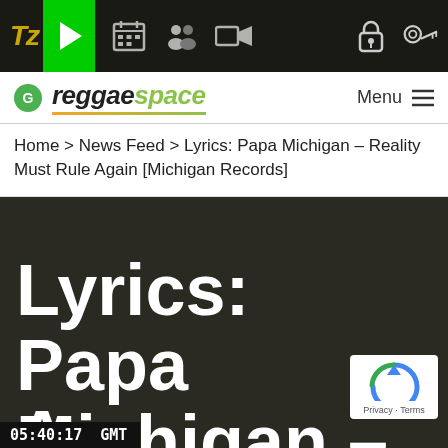[Figure (screenshot): Mobile app top navigation bar with Tz logo, green play button, calendar icon, people icon, video camera icon, lock icon, and key icon]
[Figure (screenshot): Website header showing reggaespace logo with green G circle icon and Menu hamburger button]
Home > News Feed > Lyrics: Papa Michigan – Reality Must Rule Again [Michigan Records]
[Figure (screenshot): Info circle icon (i) in olive/gold color]
Lyrics: Papa Michigan – Reality Must Rule Again
[Figure (screenshot): Google reCAPTCHA badge with blue reCAPTCHA logo and Privacy · Terms text]
05:40:17  GMT